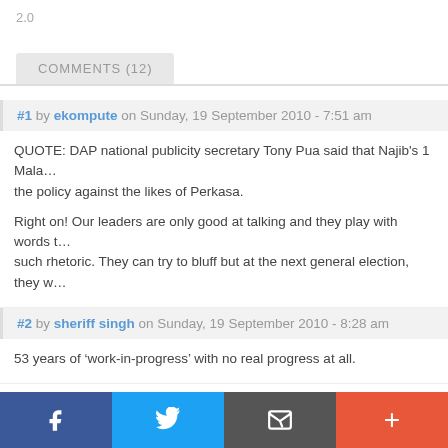2.0
COMMENTS (12)
#1 by ekompute on Sunday, 19 September 2010 - 7:51 am
QUOTE: DAP national publicity secretary Tony Pua said that Najib's 1 Mala... the policy against the likes of Perkasa.
Right on! Our leaders are only good at talking and they play with words t... such rhetoric. They can try to bluff but at the next general election, they w...
#2 by sheriff singh on Sunday, 19 September 2010 - 8:28 am
53 years of ‘work-in-progress’ with no real progress at all.
#3 by Bigjoe on Sunday, 19 September 2010 - 9:19 am
f  [Twitter]  [Email]  +